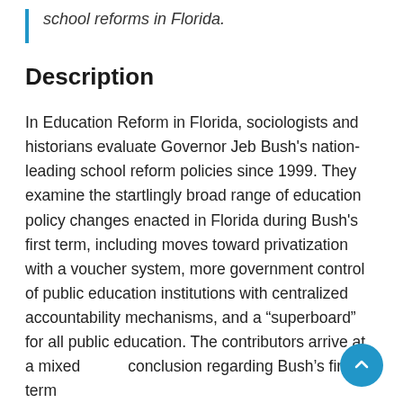school reforms in Florida.
Description
In Education Reform in Florida, sociologists and historians evaluate Governor Jeb Bush's nation-leading school reform policies since 1999. They examine the startlingly broad range of education policy changes enacted in Florida during Bush's first term, including moves toward privatization with a voucher system, more government control of public education institutions with centralized accountability mechanisms, and a "superboard" for all public education. The contributors arrive at a mixed conclusion regarding Bush's first-term